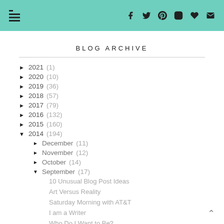Blog navigation header with menu icon and social media icons (Facebook, Twitter, Pinterest, Instagram, heart, envelope)
BLOG ARCHIVE
► 2021 (1)
► 2020 (10)
► 2019 (36)
► 2018 (57)
► 2017 (79)
► 2016 (132)
► 2015 (160)
▼ 2014 (194)
► December (11)
► November (12)
► October (14)
▼ September (17)
10 Unusual Blog Post Ideas
Art Versus Reality
Saturday Morning with AT&T
I am a Writer
Who Do I Want to Be?